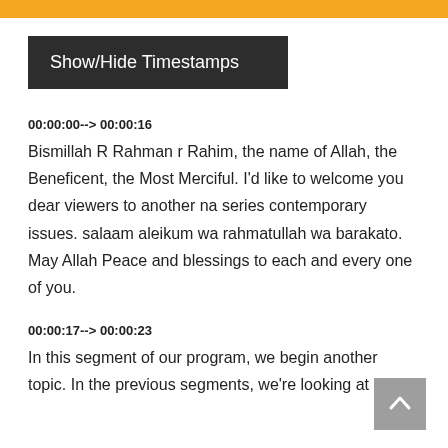[Figure (other): Show/Hide Timestamps button — dark grey/black rectangular button with white text]
00:00:00--> 00:00:16
Bismillah R Rahman r Rahim, the name of Allah, the Beneficent, the Most Merciful. I'd like to welcome you dear viewers to another na series contemporary issues. salaam aleikum wa rahmatullah wa barakato. May Allah Peace and blessings to each and every one of you.
00:00:17--> 00:00:23
In this segment of our program, we begin another topic. In the previous segments, we're looking at